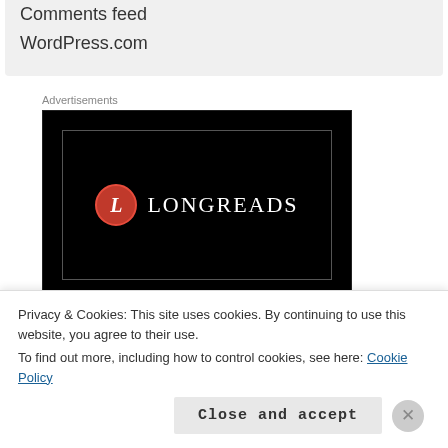Comments feed
WordPress.com
Advertisements
[Figure (logo): Longreads logo on black background — red circle with letter L and white text LONGREADS]
Privacy & Cookies: This site uses cookies. By continuing to use this website, you agree to their use.
To find out more, including how to control cookies, see here: Cookie Policy
Close and accept